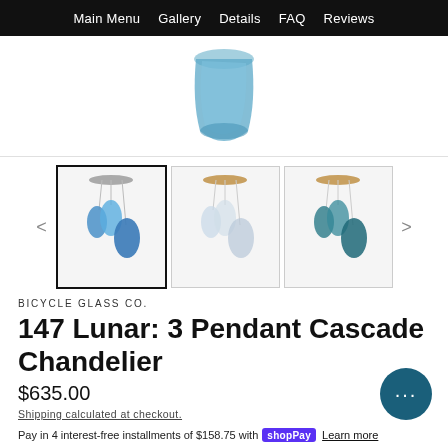Main Menu  Gallery  Details  FAQ  Reviews
[Figure (photo): Close-up of blue glass chandelier pendant lamp top portion against white background]
[Figure (photo): Thumbnail gallery of 3 pendant cascade chandeliers: blue (selected), clear/smoke, teal]
BICYCLE GLASS CO.
147 Lunar: 3 Pendant Cascade Chandelier
$635.00
Shipping calculated at checkout.
Pay in 4 interest-free installments of $158.75 with Shop Pay  Learn more